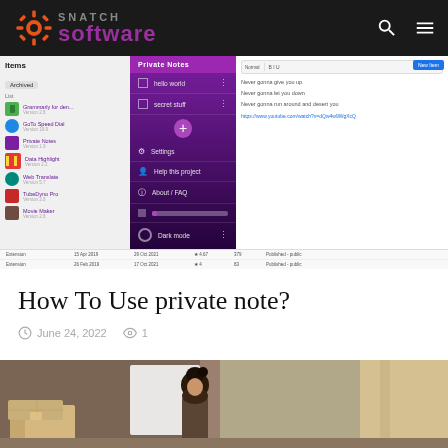Snatch Software
[Figure (screenshot): Screenshot of a browser extension management page showing a dark purple sidebar menu with options including Private Notes, hello world, secret stuff, Settings, Help this project, About/FAQ, Dark mode, alongside a list of extensions on the left and a note editor on the right.]
How To Use private note?
June 24, 2022   1
[Figure (photo): Photo of a woman with dark hair in a bun, looking down, surrounded by cardboard boxes in what appears to be a warehouse or storage room setting.]